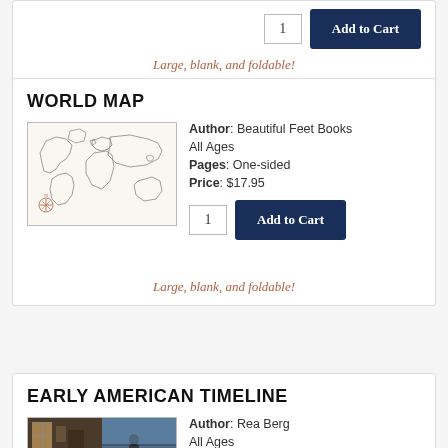Large, blank, and foldable!
WORLD MAP
[Figure (illustration): Outline world map with compass rose in lower left corner, line drawing style on light background]
Author: Beautiful Feet Books
All Ages
Pages: One-sided
Price: $17.95
Large, blank, and foldable!
EARLY AMERICAN TIMELINE
[Figure (photo): Two-photo composite: left shows colonial interior scene, right shows a figure in period clothing on a rocky shore]
Author: Rea Berg
All Ages